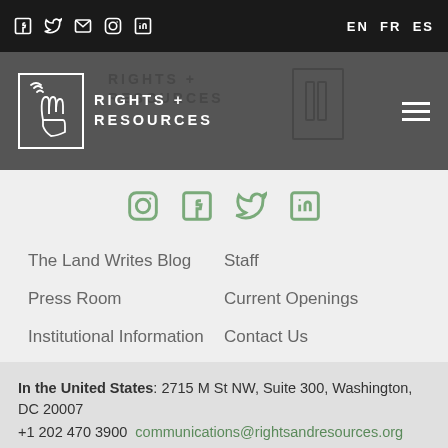Social icons: Facebook, Twitter, Email, Instagram, LinkedIn | EN FR ES
[Figure (logo): Rights + Resources logo with hands icon in white box on dark grey header bar, hamburger menu icon on right]
[Figure (logo): Social media icons row in green: Instagram, Facebook, Twitter, LinkedIn]
The Land Writes Blog
Staff
Press Room
Current Openings
Institutional Information
Contact Us
Board of Directors
Organizational Policies
In the United States: 2715 M St NW, Suite 300, Washington, DC 20007
+1 202 470 3900  communications@rightsandresources.org